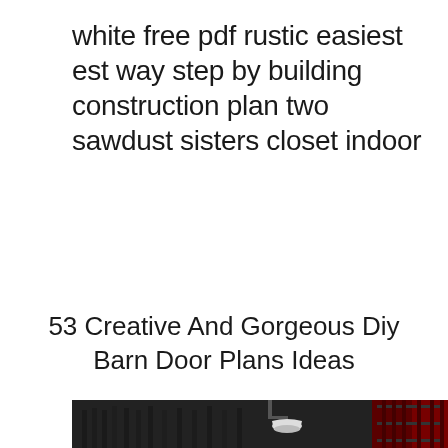white free pdf rustic easiest est way step by building construction plan two sawdust sisters closet indoor
53 Creative And Gorgeous Diy Barn Door Plans Ideas
[Figure (photo): Black and white photo showing a barn exterior with vertical wood siding and a white gooseneck barn light fixture mounted on the wall, with a red barn door visible on the right edge]